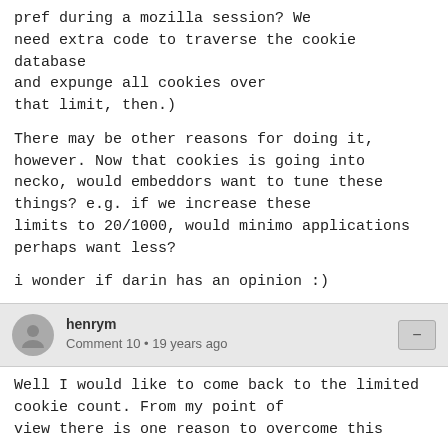pref during a mozilla session? We need extra code to traverse the cookie database and expunge all cookies over that limit, then.)

There may be other reasons for doing it, however. Now that cookies is going into necko, would embeddors want to tune these things? e.g. if we increase these limits to 20/1000, would minimo applications perhaps want less?

i wonder if darin has an opinion :)
henrym
Comment 10 • 19 years ago
Well I would like to come back to the limited cookie count. From my point of view there is one reason to overcome this